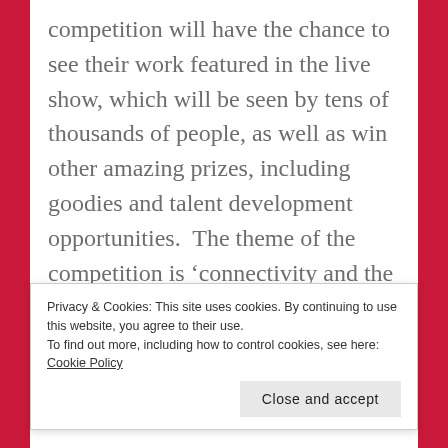competition will have the chance to see their work featured in the live show, which will be seen by tens of thousands of people, as well as win other amazing prizes, including goodies and talent development opportunities.  The theme of the competition is ‘connectivity and the universe’, and they are inviting young people to reflect on the infinite ways in
Privacy & Cookies: This site uses cookies. By continuing to use this website, you agree to their use.
To find out more, including how to control cookies, see here: Cookie Policy